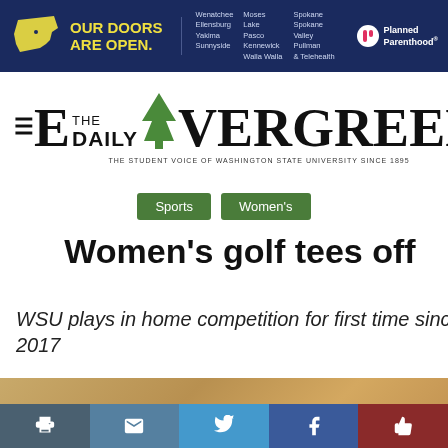[Figure (infographic): Planned Parenthood advertisement banner with navy blue background, Washington state outline map in yellow, bold text 'OUR DOORS ARE OPEN.' with list of Washington cities, and Planned Parenthood logo]
[Figure (logo): The Daily Evergreen newspaper logo — large E with 'THE DAILY' above 'VERGREEN', green tree icon, subtitle 'THE STUDENT VOICE OF WASHINGTON STATE UNIVERSITY SINCE 1895']
Sports
Women's
Women's golf tees off
WSU plays in home competition for first time since 2017
[Figure (photo): Partial view of a golf course or sandy terrain in brown/tan tones, with social sharing buttons overlaid at the bottom: print, email, Twitter, Facebook, and a thumbs-up/like button]